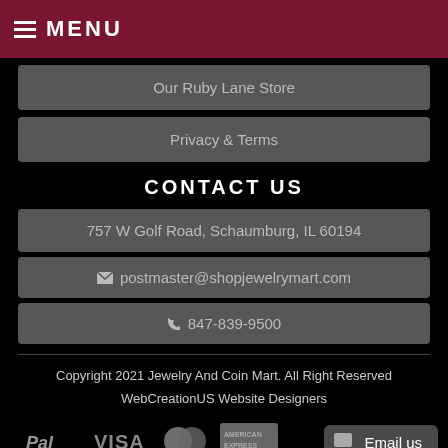MENU
Our Ruby Lane Store
Privacy & Terms
CONTACT US
757 W Golf Road, Schaumburg, IL 60194
postmaster@shopjewelrymart.com
847-839-9500
Copyright 2021 Jewelry And Coin Mart. All Right Reserved
WebCreationUS Website Designers
[Figure (infographic): Payment method logos: PayPal, VISA, MasterCard, American Express, and an Email us chat button]
Email us